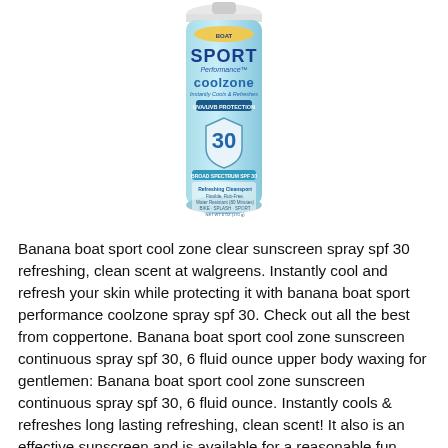[Figure (photo): Banana Boat Sport Performance Cool Zone sunscreen spray SPF 30 can, light blue color with white label, showing product branding including 'Sport Performance coolzone', 'Broad Spectrum SPF 30', and product details.]
Banana boat sport cool zone clear sunscreen spray spf 30 refreshing, clean scent at walgreens. Instantly cool and refresh your skin while protecting it with banana boat sport performance coolzone spray spf 30. Check out all the best from coppertone. Banana boat sport cool zone sunscreen continuous spray spf 30, 6 fluid ounce upper body waxing for gentlemen: Banana boat sport cool zone sunscreen continuous spray spf 30, 6 fluid ounce. Instantly cools & refreshes long lasting refreshing, clean scent! It also is an effective sunscreen and is available for a reasonable fun.